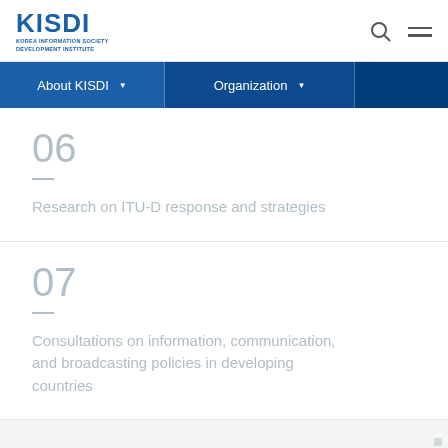[Figure (logo): KISDI logo - Korea Information Society Development Institute]
About KISDI | Organization
06 — Research on ITU-D response and strategies
07 — Consultations on information, communication, and broadcasting policies in developing countries